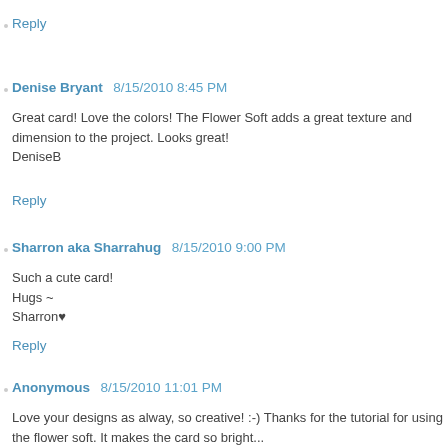Reply
Denise Bryant 8/15/2010 8:45 PM
Great card! Love the colors! The Flower Soft adds a great texture and dimension to the project. Looks great!
DeniseB
Reply
Sharron aka Sharrahug 8/15/2010 9:00 PM
Such a cute card!
Hugs ~
Sharron♥
Reply
Anonymous 8/15/2010 11:01 PM
Love your designs as alway, so creative! :-) Thanks for the tutorial for using the flower soft. It makes the card so bright...